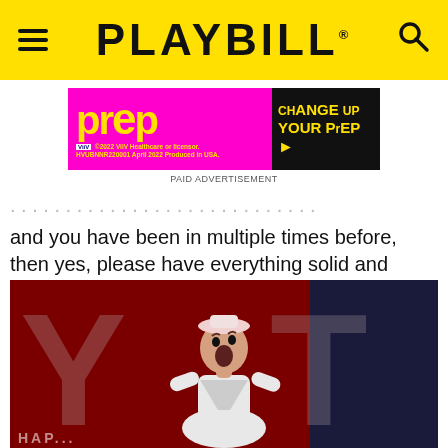PLAYBILL
[Figure (photo): PrEP advertisement banner: pink/magenta background on left with yellow 'PrEP' text and ViiV Healthcare small print; black right panel with yellow text 'CHANGE UP YOUR PrEP' and arrow]
PAID ADVERTISEMENT
and you have been in multiple times before, then yes, please have everything solid and memorized for the team.
[Figure (photo): Performer in white sailor costume with pink/white hat on a theatrical stage with red backdrop featuring large grey letters. The performer has mouth open as if singing or exclaiming.]